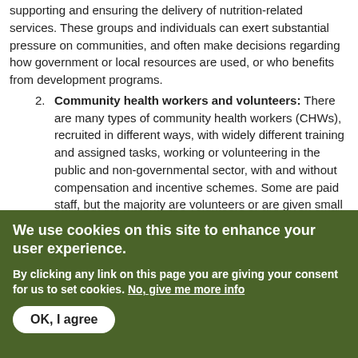supporting and ensuring the delivery of nutrition-related services. These groups and individuals can exert substantial pressure on communities, and often make decisions regarding how government or local resources are used, or who benefits from development programs.
Community health workers and volunteers: There are many types of community health workers (CHWs), recruited in different ways, with widely different training and assigned tasks, working or volunteering in the public and non-governmental sector, with and without compensation and incentive schemes. Some are paid staff, but the majority are volunteers or are given small incentives to do assigned work; some work at primary health care (PHC) facilities, others live and work in communities and visit families and women and children in their homes.
Educators, including teachers and school administrators, exist in almost all communities. Daycare providers or early childhood educators including infant-toddler providers wide
We use cookies on this site to enhance your user experience.
By clicking any link on this page you are giving your consent for us to set cookies. No, give me more info
OK, I agree